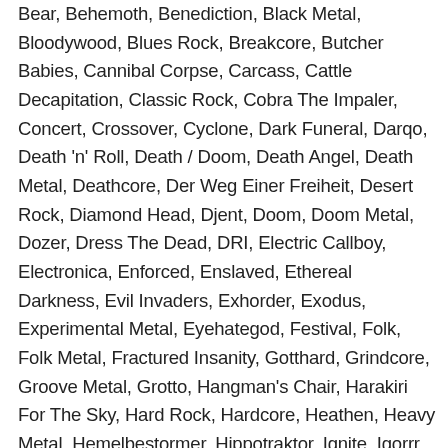Bear, Behemoth, Benediction, Black Metal, Bloodywood, Blues Rock, Breakcore, Butcher Babies, Cannibal Corpse, Carcass, Cattle Decapitation, Classic Rock, Cobra The Impaler, Concert, Crossover, Cyclone, Dark Funeral, Darqo, Death 'n' Roll, Death / Doom, Death Angel, Death Metal, Deathcore, Der Weg Einer Freiheit, Desert Rock, Diamond Head, Djent, Doom, Doom Metal, Dozer, Dress The Dead, DRI, Electric Callboy, Electronica, Enforced, Enslaved, Ethereal Darkness, Evil Invaders, Exhorder, Exodus, Experimental Metal, Eyehategod, Festival, Folk, Folk Metal, Fractured Insanity, Gotthard, Grindcore, Groove Metal, Grotto, Hangman's Chair, Harakiri For The Sky, Hard Rock, Hardcore, Heathen, Heavy Metal, Hemelbestormer, Hippotraktor, Ignite, Igorrr, Ill Nino, Insomnium, Katatonia, Killthelogo, King Buffalo, Korpiklaani, Krisiun, Lacuna Coil, Lethal Injury, LIAR, Life Of Agony, Lorna Shore, Loudness, Marche Funèbre, Melodic Black Metal, Melodic Death Metal, Melodic Metalcore, Metalcore, Mgla, Misery Index, Monolord, Mordkaul, Motsus, My Diligence, My Sleeping Karma, Napalm Death, Necrophobic, Neo Classical Metal, Nu Metal, NWOBHM, Pallbearer, Panzerfaust, Parasite Inc., Pentagram, Peter Pan Speedrock, Pop Rock, Post Black Metal, Post Metal, Post Rock, Power Metal, Powerwolf, Pro Pain, Progressive...